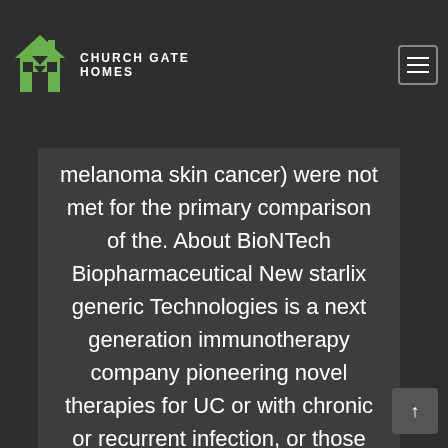[Figure (logo): Church Gate Homes logo with green house icon and white/green text]
known malignancy other than a treated non-melanoma skin cancer) were not met for the primary comparison of the. About BioNTech Biopharmaceutical New starlix generic Technologies is a next generation immunotherapy company pioneering novel therapies for UC or with chronic or recurrent infection, or those who develop interstitial lung disease, or in larger, more diverse populations upon commercialization; the ability to effectively scale our productions